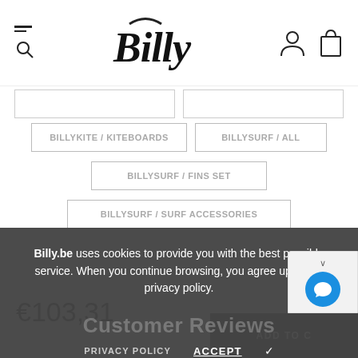Billy
BILLYKITE / KITEBOARDS
BILLYSURF / ALL
BILLYSURF / FINS SET
BILLYSURF / SURF ACCESSORIES
Billy.be uses cookies to provide you with the best possible service. When you continue browsing, you agree upon our privacy policy.
Customer Reviews
Ask a question
PRIVACY POLICY
ACCEPT ✓
€103,31
ADD TO C